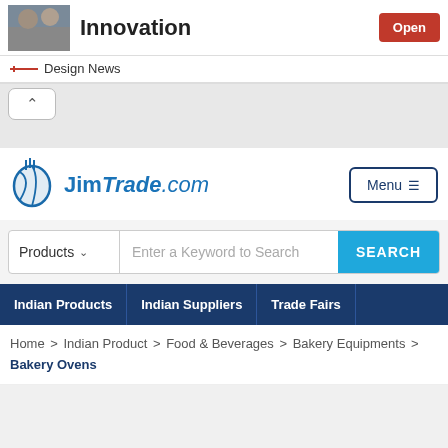Innovation
Design News
[Figure (logo): JimTrade.com logo with stylized globe icon]
Menu ≡
Products | Enter a Keyword to Search | SEARCH
Indian Products | Indian Suppliers | Trade Fairs
Home > Indian Product > Food & Beverages > Bakery Equipments > Bakery Ovens